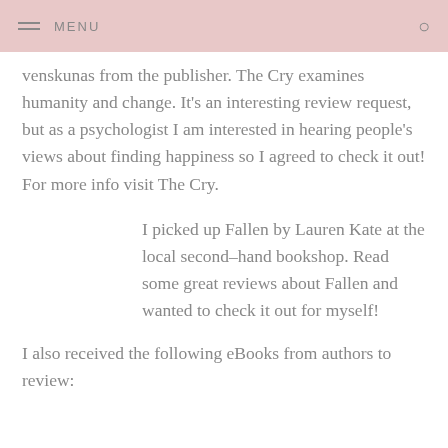MENU
venskunas from the publisher. The Cry examines humanity and change. It's an interesting review request, but as a psychologist I am interested in hearing people's views about finding happiness so I agreed to check it out! For more info visit The Cry.
I picked up Fallen by Lauren Kate at the local second–hand bookshop. Read some great reviews about Fallen and wanted to check it out for myself!
I also received the following eBooks from authors to review: